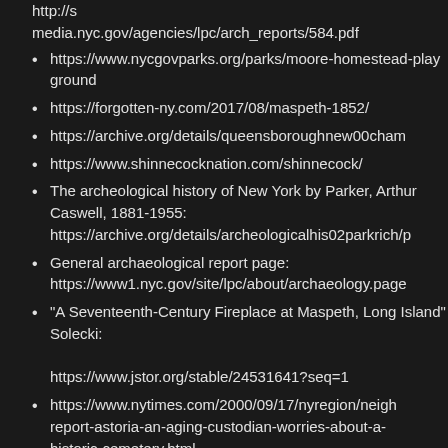http://s media.nyc.gov/agencies/lpc/arch_reports/584.pdf
https://www.nycgovparks.org/parks/moore-homestead-playground
https://forgotten-ny.com/2017/08/maspeth-1852/
https://archive.org/details/queensboroughnew00cham
https://www.shinnecocknation.com/shinnecock/
The archeological history of New York by Parker, Arthur Caswell, 1881-1955: https://archive.org/details/archeologicalhis02parkrich/p
General archaeological report page: https://www1.nyc.gov/site/lpc/about/archaeology.page
“A Seventeenth-Century Fireplace at Maspeth, Long Island” Solecki: https://www.jstor.org/stable/24531641?seq=1
https://www.nytimes.com/2000/09/17/nyregion/neigh report-astoria-an-aging-custodian-worries-about-a-historic-cemetery.html